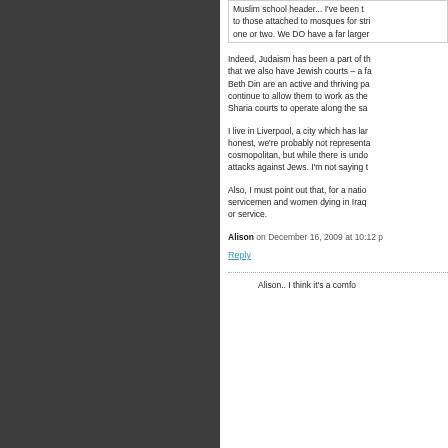Muslim school header... I've been to those attached to mosques for strictly one or two. We DO have a far larger
Indeed, Judaism has been a part of that we also have Jewish courts – a fa Beth Din are an active and thriving pa continue to allow them to work as the Sharia courts to operate along the sa
I live in Liverpool, a city which has lar honest, we're probably not representa cosmopolitan, but while there is undo attacks against Jews. I'm not saying t
Also, I must point out that, for a natio servicemen and women dying in Iraq or service.
Alison on December 16, 2009 at 10:12 p
Reply
Alison.. I think it's a comfo